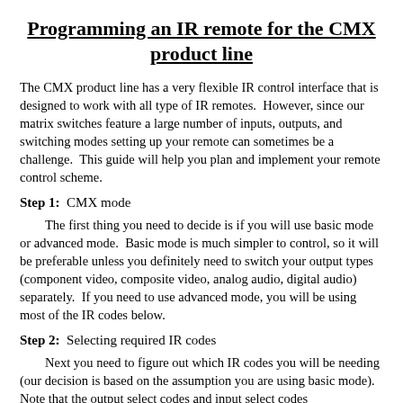Programming an IR remote for the CMX product line
The CMX product line has a very flexible IR control interface that is designed to work with all type of IR remotes.  However, since our matrix switches feature a large number of inputs, outputs, and switching modes setting up your remote can sometimes be a challenge.  This guide will help you plan and implement your remote control scheme.
Step 1:  CMX mode
The first thing you need to decide is if you will use basic mode or advanced mode.  Basic mode is much simpler to control, so it will be preferable unless you definitely need to switch your output types (component video, composite video, analog audio, digital audio) separately.  If you need to use advanced mode, you will be using most of the IR codes below.
Step 2:  Selecting required IR codes
Next you need to figure out which IR codes you will be needing (our decision is based on the assumption you are using basic mode).  Note that the output select codes and input select codes